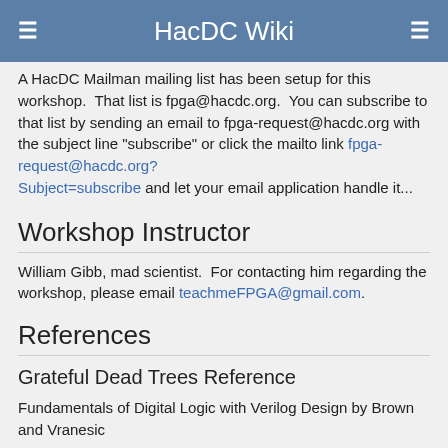HacDC Wiki
A HacDC Mailman mailing list has been setup for this workshop.  That list is fpga@hacdc.org.  You can subscribe to that list by sending an email to fpga-request@hacdc.org with the subject line "subscribe" or click the mailto link fpga-request@hacdc.org?Subject=subscribe and let your email application handle it...
Workshop Instructor
William Gibb, mad scientist.  For contacting him regarding the workshop, please email teachmeFPGA@gmail.com.
References
Grateful Dead Trees Reference
Fundamentals of Digital Logic with Verilog Design by Brown and Vranesic